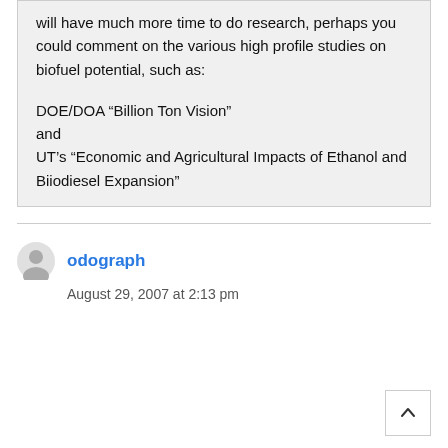will have much more time to do research, perhaps you could comment on the various high profile studies on biofuel potential, such as:

DOE/DOA “Billion Ton Vision” and UT’s “Economic and Agricultural Impacts of Ethanol and Biiodiesel Expansion”
odograph
August 29, 2007 at 2:13 pm